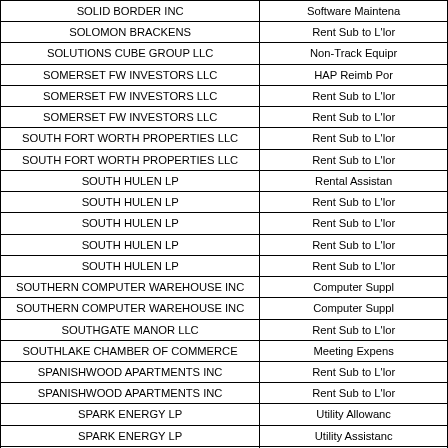| Vendor Name | Description |
| --- | --- |
| SOLID BORDER INC | Software Maintena |
| SOLOMON BRACKENS | Rent Sub to L'lor |
| SOLUTIONS CUBE GROUP LLC | Non-Track Equipr |
| SOMERSET FW INVESTORS LLC | HAP Reimb Por |
| SOMERSET FW INVESTORS LLC | Rent Sub to L'lor |
| SOMERSET FW INVESTORS LLC | Rent Sub to L'lor |
| SOUTH FORT WORTH PROPERTIES LLC | Rent Sub to L'lor |
| SOUTH FORT WORTH PROPERTIES LLC | Rent Sub to L'lor |
| SOUTH HULEN LP | Rental Assistan |
| SOUTH HULEN LP | Rent Sub to L'lor |
| SOUTH HULEN LP | Rent Sub to L'lor |
| SOUTH HULEN LP | Rent Sub to L'lor |
| SOUTH HULEN LP | Rent Sub to L'lor |
| SOUTHERN COMPUTER WAREHOUSE INC | Computer Suppl |
| SOUTHERN COMPUTER WAREHOUSE INC | Computer Suppl |
| SOUTHGATE MANOR LLC | Rent Sub to L'lor |
| SOUTHLAKE CHAMBER OF COMMERCE | Meeting Expens |
| SPANISHWOOD APARTMENTS INC | Rent Sub to L'lor |
| SPANISHWOOD APARTMENTS INC | Rent Sub to L'lor |
| SPARK ENERGY LP | Utility Allowanc |
| SPARK ENERGY LP | Utility Assistanc |
| SPRING HOLLOW SENIOR RESIDENTIAL LP | Rent Sub to L'lor |
| SPRING VALLEY LTD | Rent Sub to L'lor |
| ... | Rent Sub to L'lor |